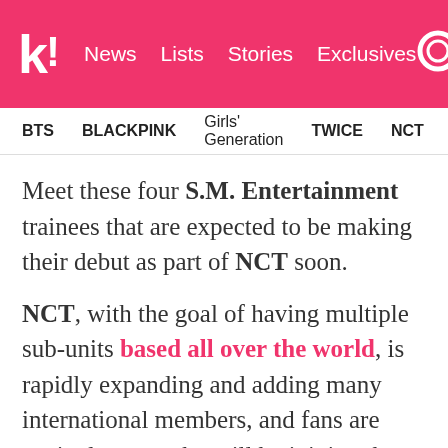k! News Lists Stories Exclusives
BTS BLACKPINK Girls' Generation TWICE NCT SEVE
Meet these four S.M. Entertainment trainees that are expected to be making their debut as part of NCT soon.
NCT, with the goal of having multiple sub-units based all over the world, is rapidly expanding and adding many international members, and fans are excited to see who will be joining the new units.
These four trainees are some of the most likely to debut this year and are sure to impress fans with their top visuals, smooth vocals, and impressive dancing skills.